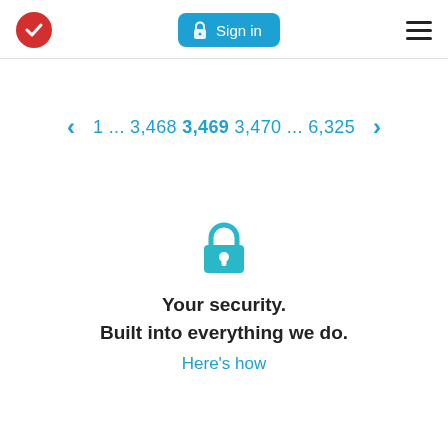Sign in | Menu
1 ... 3,468 3,469 3,470 ... 6,325
[Figure (illustration): Teal padlock icon]
Your security. Built into everything we do.
Here's how